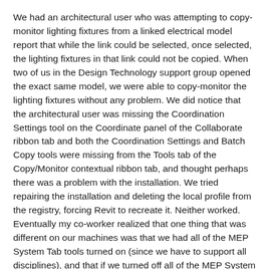We had an architectural user who was attempting to copy-monitor lighting fixtures from a linked electrical model report that while the link could be selected, once selected, the lighting fixtures in that link could not be copied. When two of us in the Design Technology support group opened the exact same model, we were able to copy-monitor the lighting fixtures without any problem. We did notice that the architectural user was missing the Coordination Settings tool on the Coordinate panel of the Collaborate ribbon tab and both the Coordination Settings and Batch Copy tools were missing from the Tools tab of the Copy/Monitor contextual ribbon tab, and thought perhaps there was a problem with the installation. We tried repairing the installation and deleting the local profile from the registry, forcing Revit to recreate it. Neither worked. Eventually my co-worker realized that one thing that was different on our machines was that we had all of the MEP System Tab tools turned on (since we have to support all disciplines), and that if we turned off all of the MEP System Tab tools, then we also lost those tools and could not copy-monitor lighting fixtures, either.